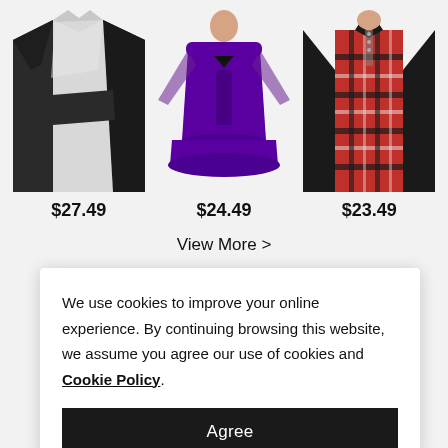[Figure (photo): Black and white color-block long-sleeve women's top]
[Figure (photo): Purple mesh-sleeve gothic women's top]
[Figure (photo): Black and red plaid lace-up women's top]
$27.49
$24.49
$23.49
View More >
We use cookies to improve your online experience. By continuing browsing this website, we assume you agree our use of cookies and Cookie Policy.
Agree